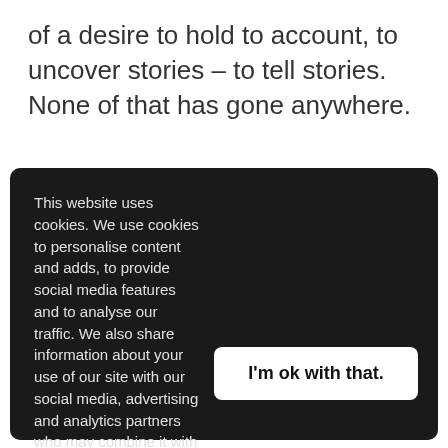of a desire to hold to account, to uncover stories – to tell stories. None of that has gone anywhere.
This website uses cookies. We use cookies to personalise content and adds, to provide social media features and to analyse our traffic. We also share information about your use of our site with our social media, advertising and analytics partners who may combine it with other information that you've provided to them or that they've collected from your use of their services. Learn more
I'm ok with that.